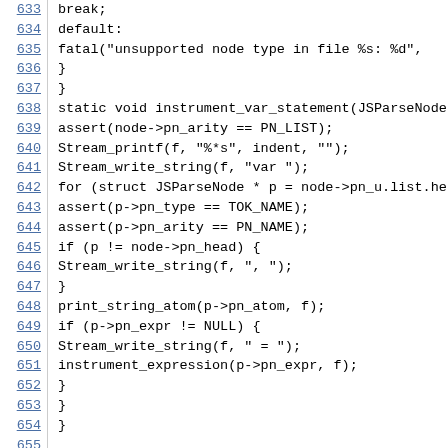[Figure (screenshot): Source code listing lines 633-655 showing C code for instrument_var_statement function with line numbers on the left in blue underlined style]